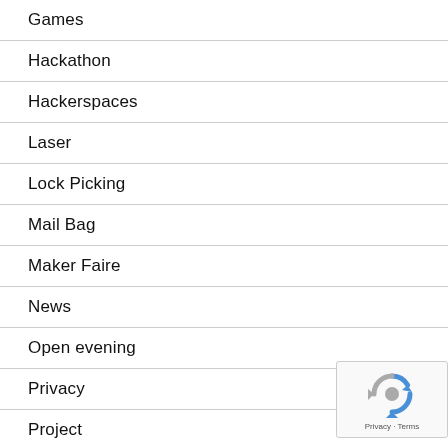Games
Hackathon
Hackerspaces
Laser
Lock Picking
Mail Bag
Maker Faire
News
Open evening
Privacy
Project